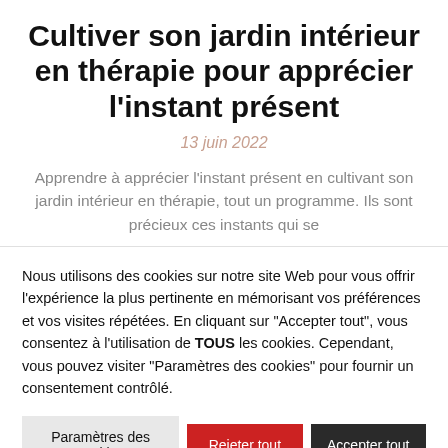Cultiver son jardin intérieur en thérapie pour apprécier l'instant présent
13 juin 2022
Apprendre à apprécier l'instant présent en cultivant son jardin intérieur en thérapie, tout un programme. Ils sont précieux ces instants qui se
Nous utilisons des cookies sur notre site Web pour vous offrir l'expérience la plus pertinente en mémorisant vos préférences et vos visites répétées. En cliquant sur "Accepter tout", vous consentez à l'utilisation de TOUS les cookies. Cependant, vous pouvez visiter "Paramètres des cookies" pour fournir un consentement contrôlé.
Paramètres des cookies | Rejeter tout | Accepter tout